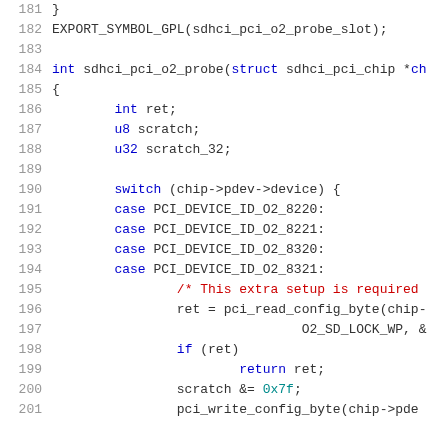181  }
182  EXPORT_SYMBOL_GPL(sdhci_pci_o2_probe_slot);
183
184  int sdhci_pci_o2_probe(struct sdhci_pci_chip *ch
185  {
186      int ret;
187      u8 scratch;
188      u32 scratch_32;
189
190      switch (chip->pdev->device) {
191      case PCI_DEVICE_ID_O2_8220:
192      case PCI_DEVICE_ID_O2_8221:
193      case PCI_DEVICE_ID_O2_8320:
194      case PCI_DEVICE_ID_O2_8321:
195          /* This extra setup is required
196          ret = pci_read_config_byte(chip-
197                          O2_SD_LOCK_WP, &
198          if (ret)
199                  return ret;
200          scratch &= 0x7f;
201          pci_write_config_byte(chip->pde